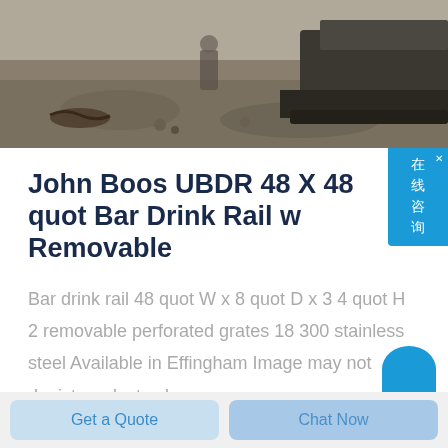[Figure (photo): Construction site photo showing heavy equipment (bulldozer/tractor) on gravel/dirt ground, viewed from above]
John Boos UBDR 48 X 48 quot Bar Drink Rail w Removable
Bar drink rail 48 quot W x 8 quot D x 3 4 quot H 2 removable perforated grates 18 300 stainless steel Available in Effingham Image may not depict product color
Get a Quote
Chat Now